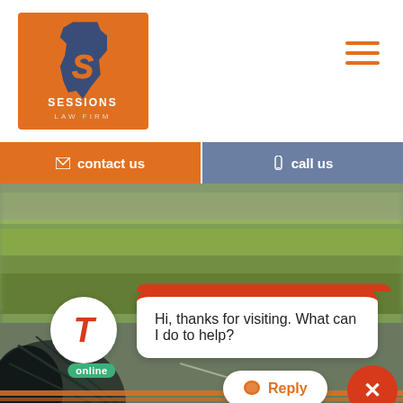[Figure (logo): Sessions Law Firm logo — orange square background with blue Georgia state shape and letter S, text SESSIONS LAW FIRM below]
[Figure (infographic): Hamburger/menu icon — three horizontal orange lines]
contact us
call us
[Figure (photo): Blurred motion photo taken from inside a moving car showing the road, car side mirror, and green trees blurring past]
Hi, thanks for visiting. What can I do to help?
online
Reply
X